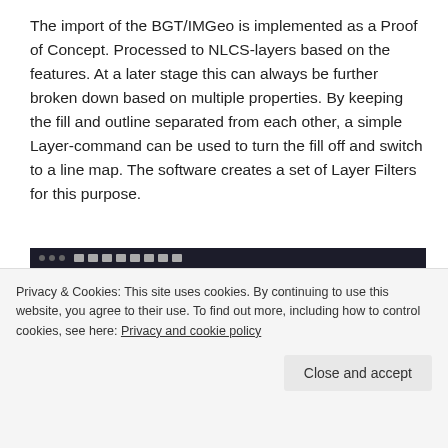The import of the BGT/IMGeo is implemented as a Proof of Concept. Processed to NLCS-layers based on the features. At a later stage this can always be further broken down based on multiple properties. By keeping the fill and outline separated from each other, a simple Layer-command can be used to turn the fill off and switch to a line map. The software creates a set of Layer Filters for this purpose.
[Figure (screenshot): Screenshot of a CAD/GIS software showing a map with colored building footprints and land parcels — red/orange buildings on a beige/cream background with green vegetation areas and grey roads. A dark toolbar is visible at the top of the application window.]
Privacy & Cookies: This site uses cookies. By continuing to use this website, you agree to their use. To find out more, including how to control cookies, see here: Privacy and cookie policy